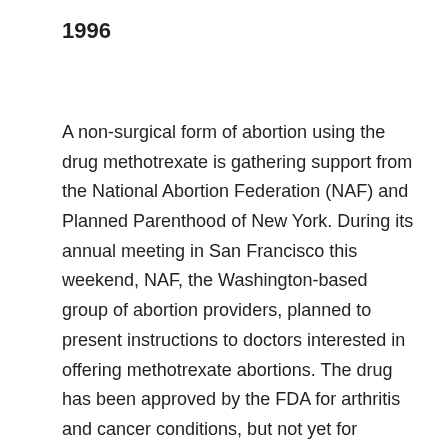1996
A non-surgical form of abortion using the drug methotrexate is gathering support from the National Abortion Federation (NAF) and Planned Parenthood of New York. During its annual meeting in San Francisco this weekend, NAF, the Washington-based group of abortion providers, planned to present instructions to doctors interested in offering methotrexate abortions. The drug has been approved by the FDA for arthritis and cancer conditions, but not yet for abortions. Using drugs for purposes other than those for which they were approved is both a legal and a common occurrence. The specific procedure NAF is encouraging doctors to explore involves an